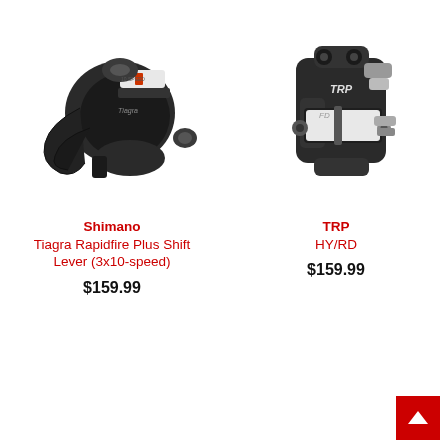[Figure (photo): Shimano Tiagra Rapidfire Plus Shift Lever (3x10-speed) - black bicycle shift lever component]
[Figure (photo): TRP HY/RD - black hydraulic/mechanical disc brake caliper component]
Shimano
Tiagra Rapidfire Plus Shift Lever (3x10-speed)
TRP
HY/RD
$159.99
$159.99